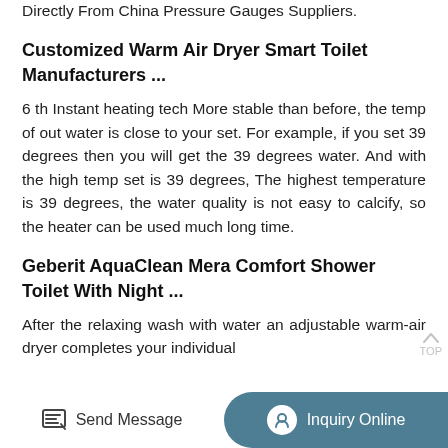Directly From China Pressure Gauges Suppliers.
Customized Warm Air Dryer Smart Toilet Manufacturers ...
6 th Instant heating tech More stable than before, the temp of out water is close to your set. For example, if you set 39 degrees then you will get the 39 degrees water. And with the high temp set is 39 degrees, The highest temperature is 39 degrees, the water quality is not easy to calcify, so the heater can be used much long time.
Geberit AquaClean Mera Comfort Shower Toilet With Night ...
After the relaxing wash with water an adjustable warm-air dryer completes your individual
Send Message   Inquiry Online